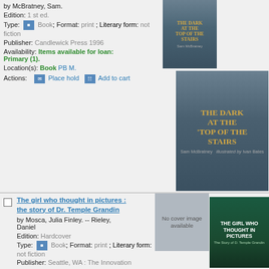by McBratney, Sam.
Edition: 1 st ed.
Type: Book; Format: print ; Literary form: not fiction
Publisher: Candlewick Press 1996
Availability: Items available for loan: Primary (1).
Location(s): Book PB M.
Actions: Place hold  Add to cart
[Figure (photo): Small book cover thumbnail of The Dark at the Top of the Stairs]
[Figure (photo): Large book cover of The Dark at the Top of the Stairs by Sam McBratney, illustrated by Ivan Bates]
The girl who thought in pictures : the story of Dr. Temple Grandin
by Mosca, Julia Finley. -- Rieley, Daniel
Edition: Hardcover
Type: Book; Format: print ; Literary form: not fiction
Publisher: Seattle, WA : The Innovation
[Figure (photo): No cover image available placeholder]
[Figure (photo): Book cover of The Girl Who Thought in Pictures: The Story of Dr. Temple Grandin]